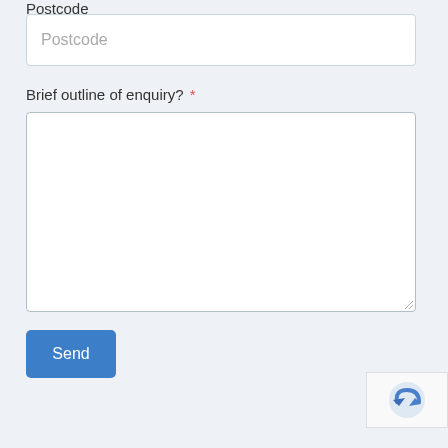Postcode
Brief outline of enquiry? *
Send
[Figure (logo): reCAPTCHA logo widget partially visible in bottom-right corner]